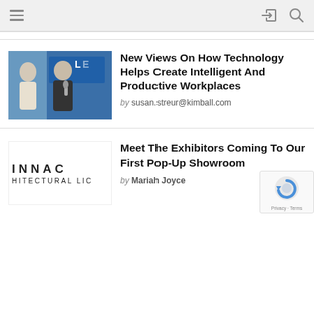Navigation bar with menu, share, and search icons
[Figure (photo): Two people at a conference event with a 'CREATE LIVE' branded backdrop; a woman in white and a man in dark jacket holding a microphone.]
New Views On How Technology Helps Create Intelligent And Productive Workplaces
by susan.streur@kimball.com
[Figure (logo): INNAC / HITECTURAL LIC logo text in spaced capital letters]
Meet The Exhibitors Coming To Our First Pop-Up Showroom
by Mariah Joyce